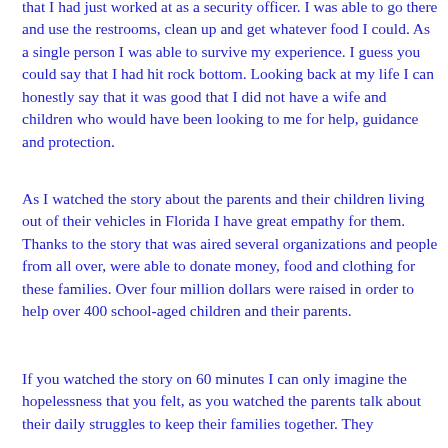that I had just worked at as a security officer. I was able to go there and use the restrooms, clean up and get whatever food I could. As a single person I was able to survive my experience. I guess you could say that I had hit rock bottom. Looking back at my life I can honestly say that it was good that I did not have a wife and children who would have been looking to me for help, guidance and protection.
As I watched the story about the parents and their children living out of their vehicles in Florida I have great empathy for them. Thanks to the story that was aired several organizations and people from all over, were able to donate money, food and clothing for these families. Over four million dollars were raised in order to help over 400 school-aged children and their parents.
If you watched the story on 60 minutes I can only imagine the hopelessness that you felt, as you watched the parents talk about their daily struggles to keep their families together. They